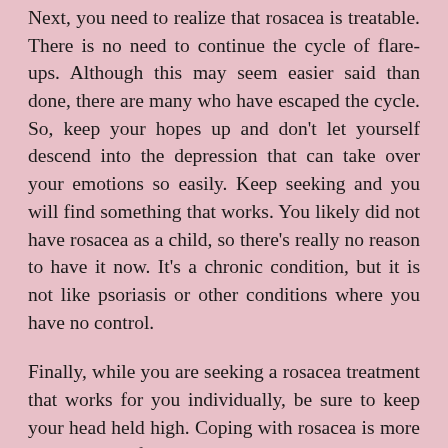Next, you need to realize that rosacea is treatable. There is no need to continue the cycle of flare-ups. Although this may seem easier said than done, there are many who have escaped the cycle. So, keep your hopes up and don't let yourself descend into the depression that can take over your emotions so easily. Keep seeking and you will find something that works. You likely did not have rosacea as a child, so there's really no reason to have it now. It's a chronic condition, but it is not like psoriasis or other conditions where you have no control.
Finally, while you are seeking a rosacea treatment that works for you individually, be sure to keep your head held high. Coping with rosacea is more or less a self-image issue. Losing hope in an effective treatment and feeling isolated, like you're the only one in the world who suffers from this skin condition, is what makes you feel down and